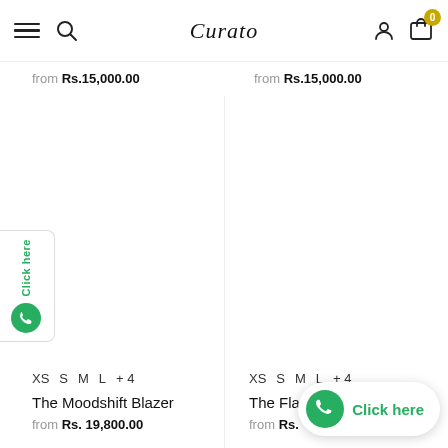Curato — navigation bar with hamburger, search, logo, user, cart (0)
from Rs.15,000.00 | from Rs.15,000.00
XS S M L +4
The Moodshift Blazer
from Rs. 19,800.00
XS S M L +4
The Flash Blazer
from Rs. [partially obscured]